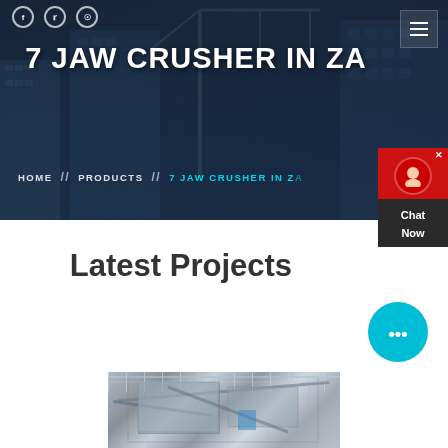[Figure (screenshot): Website header with dark construction site background showing cranes and buildings. Navigation icons at top left (social media icons). Hamburger menu at top right.]
7 JAW CRUSHER IN ZA
HOME // PRODUCTS // 7 JAW CRUSHER IN ZA
[Figure (screenshot): Chat Now widget showing red background with support agent icon and dark body with Chat Now text]
Latest Projects
[Figure (photo): Industrial jaw crusher machinery photographed inside a large warehouse/facility]
[Figure (illustration): Blue circular chat bubble icon with three dots]